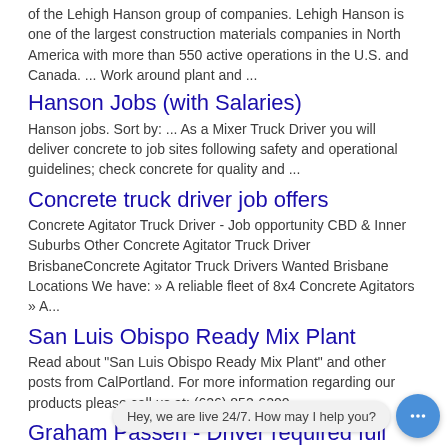of the Lehigh Hanson group of companies. Lehigh Hanson is one of the largest construction materials companies in North America with more than 550 active operations in the U.S. and Canada. ... Work around plant and ...
Hanson Jobs (with Salaries)
Hanson jobs. Sort by: ... As a Mixer Truck Driver you will deliver concrete to job sites following safety and operational guidelines; check concrete for quality and ...
Concrete truck driver job offers
Concrete Agitator Truck Driver - Job opportunity CBD & Inner Suburbs Other Concrete Agitator Truck Driver BrisbaneConcrete Agitator Truck Drivers Wanted Brisbane Locations We have: » A reliable fleet of 8x4 Concrete Agitators » A...
San Luis Obispo Ready Mix Plant
Read about "San Luis Obispo Ready Mix Plant" and other posts from CalPortland. For more information regarding our products please call us at: (626) 852-6200
Graham Passeri - Driver required full time for Hanson Agi
Driver required full time for agitator truck working out of Hanson plant. Owner driver preferred but casual also considered. Good work conditions training available. 0429682404